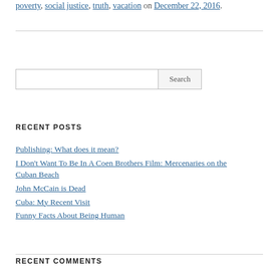poverty, social justice, truth, vacation on December 22, 2016.
RECENT POSTS
Publishing: What does it mean?
I Don't Want To Be In A Coen Brothers Film: Mercenaries on the Cuban Beach
John McCain is Dead
Cuba: My Recent Visit
Funny Facts About Being Human
RECENT COMMENTS